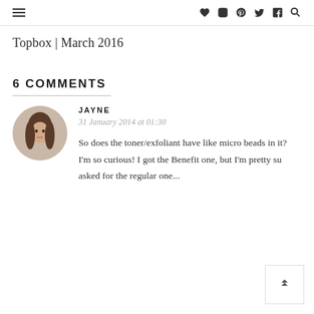≡ ♥ Instagram Pinterest Twitter Facebook Search
Topbox | March 2016
6 COMMENTS
JAYNE
31 January 2014 at 01:30
So does the toner/exfoliant have like micro beads in it? I'm so curious! I got the Benefit one, but I'm pretty su asked for the regular one...